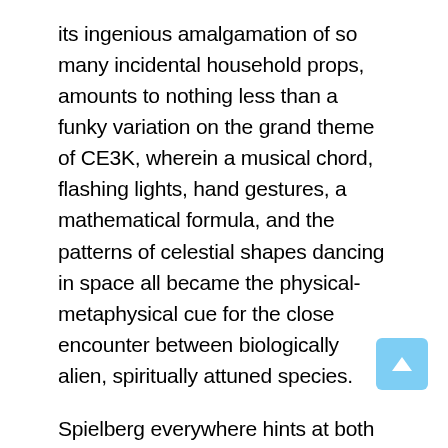its ingenious amalgamation of so many incidental household props, amounts to nothing less than a funky variation on the grand theme of CE3K, wherein a musical chord, flashing lights, hand gestures, a mathematical formula, and the patterns of celestial shapes dancing in space all became the physical-metaphysical cue for the close encounter between biologically alien, spiritually attuned species.
Spielberg everywhere hints at both the readiness of humankind to imaginatively embrace such possibilities, and the cozy overfamiliarity, the cultural conditioning, that militates against making the sublime connection. How appropriate, with respect to both levels of possibility, that the kids going outside to chase the goblin they don't believe in, accompany and comment on their own mission by chanting the “deedle-deedle, deedle-deedle” theme